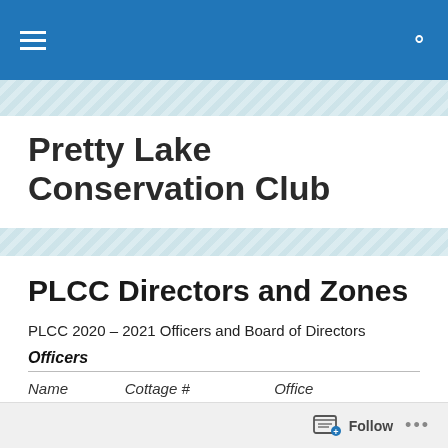Pretty Lake Conservation Club — navigation bar
Pretty Lake Conservation Club
PLCC Directors and Zones
PLCC 2020 – 2021 Officers and Board of Directors
Officers
| Name | Cottage # | Office |
| --- | --- | --- |
| Scott | (#177D) | President |
Follow